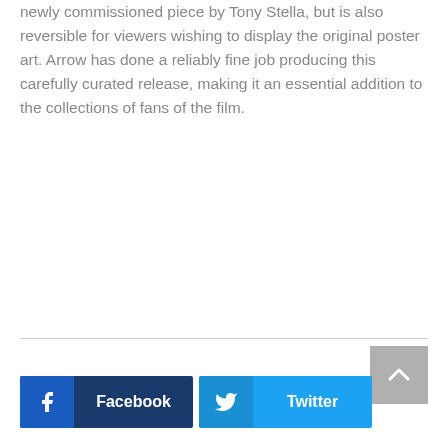newly commissioned piece by Tony Stella, but is also reversible for viewers wishing to display the original poster art. Arrow has done a reliably fine job producing this carefully curated release, making it an essential addition to the collections of fans of the film.
[Figure (other): Back to top button (grey square with white chevron up arrow)]
[Figure (other): Facebook share button (dark blue with Facebook icon and label 'Facebook')]
[Figure (other): Twitter share button (blue with Twitter bird icon and label 'Twitter')]